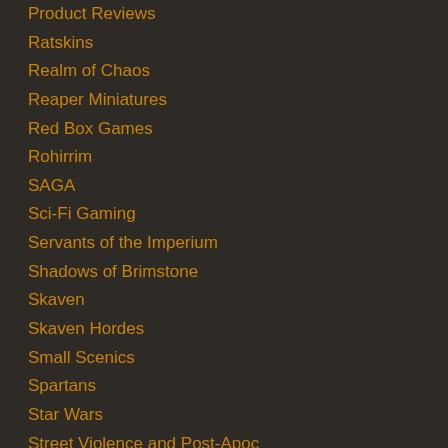Product Reviews
Ratskins
Realm of Chaos
Reaper Miniatures
Red Box Games
Rohirrim
SAGA
Sci-Fi Gaming
Servants of the Imperium
Shadows of Brimstone
Skaven
Skaven Hordes
Small Scenics
Spartans
Star Wars
Street Violence and Post-Apoc
Tale of Gamers II June-Dec 2016
Tale of Umpteen Gamers Jan-June 2016
Team Yankee WWIII
Terminator Genisys